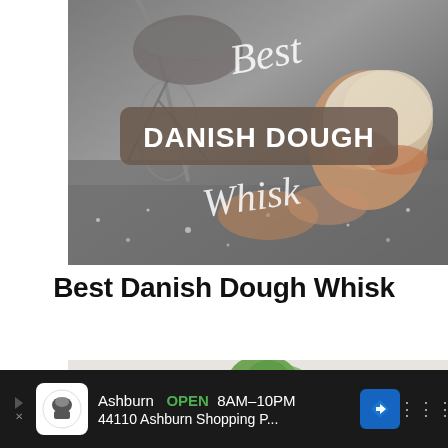[Figure (photo): Photo of hands kneading bread dough on a floured surface with a Danish dough whisk. Text overlay reads 'Best' in cursive at top, 'DANISH DOUGH' in large white bold text on a brown/taupe rounded rectangle banner in the middle, and 'Whisk' in cursive script at the bottom.]
Best Danish Dough Whisk
[Figure (photo): Partial photo showing kitchen counter with wire basket organizer, plant, glass jars, and a person with dark hair. Image is partially cut off at bottom.]
Ashburn  OPEN  8AM–10PM  44110 Ashburn Shopping P...